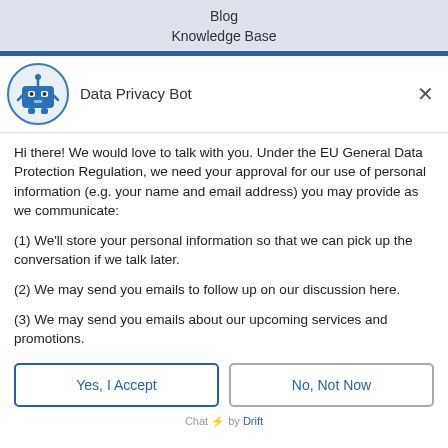Blog
Knowledge Base
Data Privacy Bot
Hi there! We would love to talk with you. Under the EU General Data Protection Regulation, we need your approval for our use of personal information (e.g. your name and email address) you may provide as we communicate:
(1) We'll store your personal information so that we can pick up the conversation if we talk later.
(2) We may send you emails to follow up on our discussion here.
(3) We may send you emails about our upcoming services and promotions.
Yes, I Accept
No, Not Now
Chat ⚡ by Drift